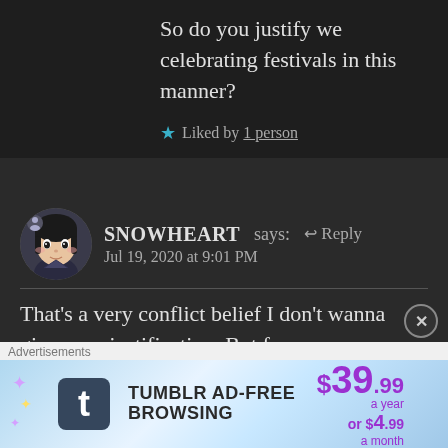So do you justify we celebrating festivals in this manner?
★ Liked by 1 person
SNOWHEART says: ← Reply
Jul 19, 2020 at 9:01 PM
That's a very conflict belief I don't wanna gives any justification. But for my own opinion religion cannot save
[Figure (other): Tumblr Ad-Free Browsing advertisement banner: $39.99 a year or $4.99 a month]
Advertisements